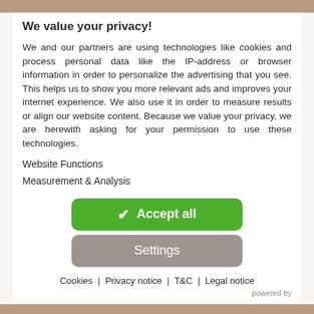We value your privacy!
We and our partners are using technologies like cookies and process personal data like the IP-address or browser information in order to personalize the advertising that you see. This helps us to show you more relevant ads and improves your internet experience. We also use it in order to measure results or align our website content. Because we value your privacy, we are herewith asking for your permission to use these technologies.
Website Functions
Measurement & Analysis
✔ Accept all
Settings
Cookies | Privacy notice | T&C | Legal notice
powered by